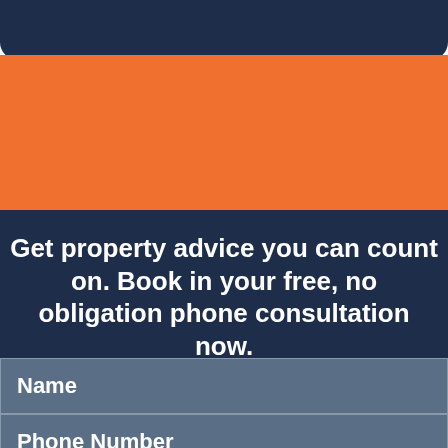[Figure (illustration): Dark navy blue rounded rectangle banner at top of page, orange background section below it]
Get property advice you can count on. Book in your free, no obligation phone consultation now.
Name
Phone Number